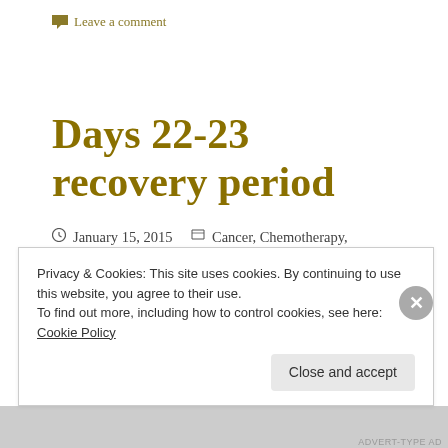Leave a comment
Days 22-23 recovery period
January 15, 2015   Cancer, Chemotherapy, Diagnosis and symptoms, Health, Leukaemia, Lymphoma   chemotherapy, hair loss, hospital food, Recovery
Privacy & Cookies: This site uses cookies. By continuing to use this website, you agree to their use.
To find out more, including how to control cookies, see here: Cookie Policy
Close and accept